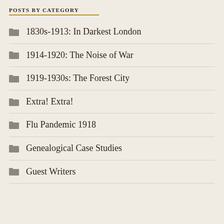POSTS BY CATEGORY
1830s-1913: In Darkest London
1914-1920: The Noise of War
1919-1930s: The Forest City
Extra! Extra!
Flu Pandemic 1918
Genealogical Case Studies
Guest Writers